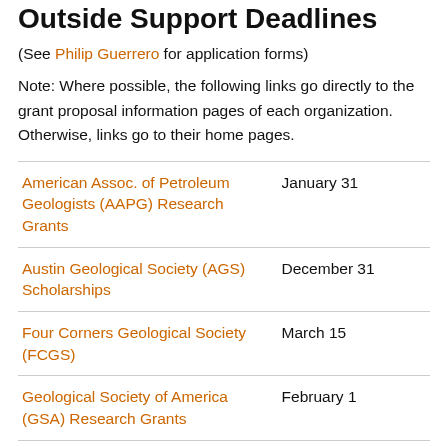Outside Support Deadlines
(See Philip Guerrero for application forms)
Note: Where possible, the following links go directly to the grant proposal information pages of each organization. Otherwise, links go to their home pages.
| Organization | Deadline |
| --- | --- |
| American Assoc. of Petroleum Geologists (AAPG) Research Grants | January 31 |
| Austin Geological Society (AGS) Scholarships | December 31 |
| Four Corners Geological Society (FCGS) | March 15 |
| Geological Society of America (GSA) Research Grants | February 1 |
| Gulf Coast Association of Geological ... | March 1 |